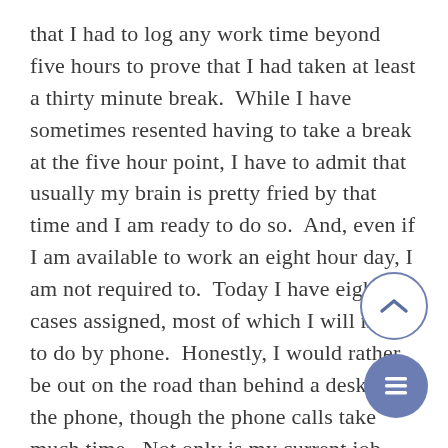that I had to log any work time beyond five hours to prove that I had taken at least a thirty minute break.  While I have sometimes resented having to take a break at the five hour point, I have to admit that usually my brain is pretty fried by that time and I am ready to do so.  And, even if I am available to work an eight hour day, I am not required to.  Today I have eight cases assigned, most of which I will need to do by phone.  Honestly, I would rather be out on the road than behind a desk on the phone, though the phone calls take much time.  Not only is my current job different from any other work I have had in my life, but planning my work day is totally different as well.